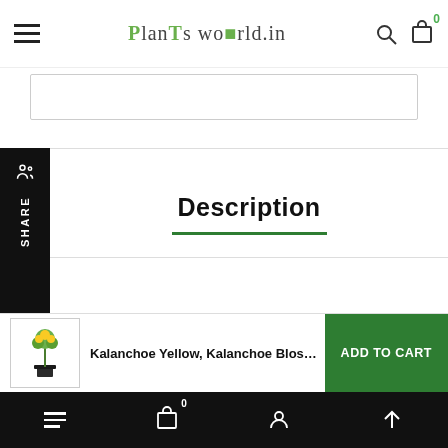PlanTs world.in
[Figure (screenshot): Search bar input field]
[Figure (screenshot): Share sidebar button with icon and SHARE text]
Description
Common name –flaming Katy, Christmas kalanchoe
Scientific name – Kalanchoe blossfeldiana
[Figure (screenshot): Add to cart bar with product thumbnail: Kalanchoe Yellow, Kalanchoe Blossfeldiana – P and ADD TO CART button]
Bottom navigation bar with menu, cart (0), profile, and scroll-up icons